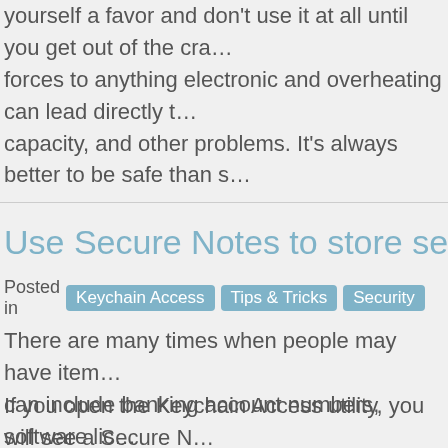yourself a favor and don't use it at all until you get out of the cra… forces to anything electronic and overheating can lead directly t… capacity, and other problems. It's always better to be safe than s…
Use Secure Notes to store secr…
Posted in  Keychain Access  Tips & Tricks  Security  | 0 sh…
There are many times when people may have item… can include banking account numbers, software lic…
If you open the Keychain Access utility, you will see a Secure N… any bit of text, and it will be securely saved to the keychain. Her…